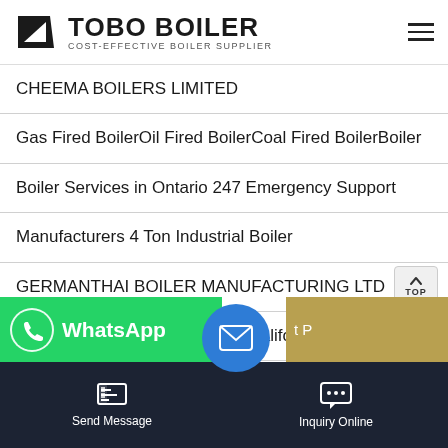TOBO BOILER — COST-EFFECTIVE BOILER SUPPLIER
CHEEMA BOILERS LIMITED
Gas Fired BoilerOil Fired BoilerCoal Fired BoilerBoiler
Boiler Services in Ontario 247 Emergency Support
Manufacturers 4 Ton Industrial Boiler
GERMANTHAI BOILER MANUFACTURING LTD
Boiler Boiler Room Equipment California Boiler and
Wise Energy Solutions Blackpool New Boiler Pump
[Figure (screenshot): WhatsApp green bar, blue email circle, partial yellow-brown strip, and dark bottom navigation bar with Send Message and Inquiry Online buttons]